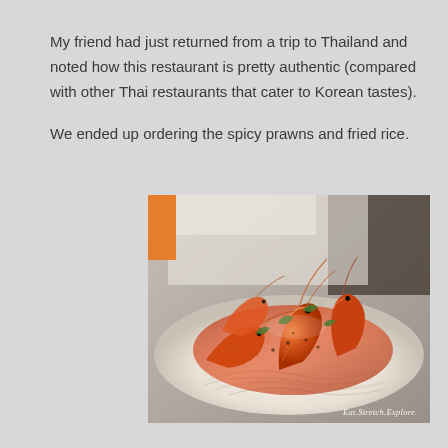My friend had just returned from a trip to Thailand and noted how this restaurant is pretty authentic (compared with other Thai restaurants that cater to Korean tastes).

We ended up ordering the spicy prawns and fried rice.
[Figure (photo): A plate of spicy prawns/shrimp cooked in a glossy red-orange sauce with green herbs, served on glass noodles on a white plate. An orange rectangle is visible in the upper-left corner of the image. Watermark 'Eat.Stretch.Explore.' in bottom-right corner.]